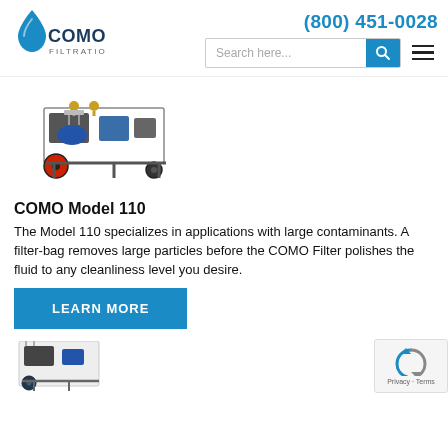[Figure (logo): COMO Filtration logo with water drop icon and blue text]
(800) 451-0028
[Figure (screenshot): Search bar input with magnifying glass button]
[Figure (photo): COMO Model 110 filtration equipment on wheeled cart with red wheels and yellow hose fittings]
COMO Model 110
The Model 110 specializes in applications with large contaminants. A filter-bag removes large particles before the COMO Filter polishes the fluid to any cleanliness level you desire.
[Figure (screenshot): LEARN MORE blue button]
[Figure (photo): Partial view of another COMO filtration unit at the bottom of the page]
[Figure (other): reCAPTCHA privacy badge with Privacy and Terms text]